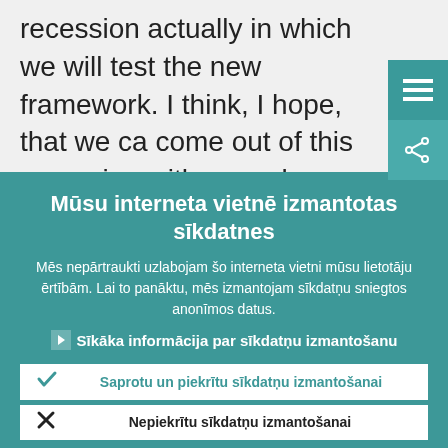recession actually in which we will test the new framework. I think, I hope, that we ca come out of this recession with some lessons that might lead to some
Mūsu interneta vietnē izmantotas sīkdatnes
Mēs nepārtraukti uzlabojam šo interneta vietni mūsu lietotāju ērtībām. Lai to panāktu, mēs izmantojam sīkdatņu sniegtos anonīmos datus.
Sīkāka informācija par sīkdatņu izmantošanu
Saprotu un piekrītu sīkdatņu izmantošanai
Nepiekrītu sīkdatņu izmantošanai